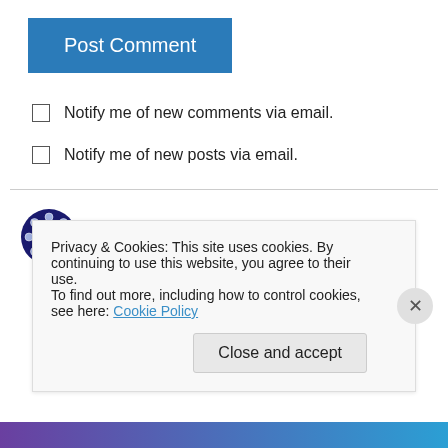Post Comment
Notify me of new comments via email.
Notify me of new posts via email.
Faith on August 9, 2010 at 4:48 pm
They support Sheriff Joe.
I support proper English.
Privacy & Cookies: This site uses cookies. By continuing to use this website, you agree to their use.
To find out more, including how to control cookies, see here: Cookie Policy
Close and accept